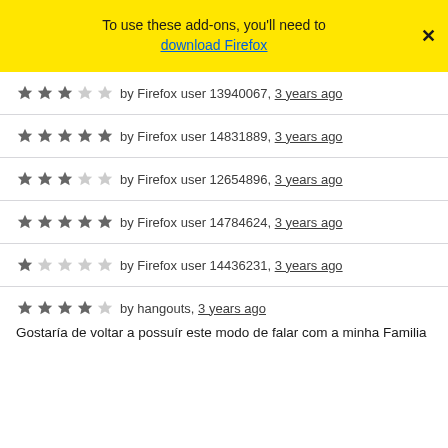To use these add-ons, you'll need to download Firefox
★★★☆☆ by Firefox user 13940067, 3 years ago
★★★★★ by Firefox user 14831889, 3 years ago
★★★☆☆ by Firefox user 12654896, 3 years ago
★★★★★ by Firefox user 14784624, 3 years ago
★☆☆☆☆ by Firefox user 14436231, 3 years ago
★★★★☆ by hangouts, 3 years ago
Gostaría de voltar a possuír este modo de falar com a minha Familia